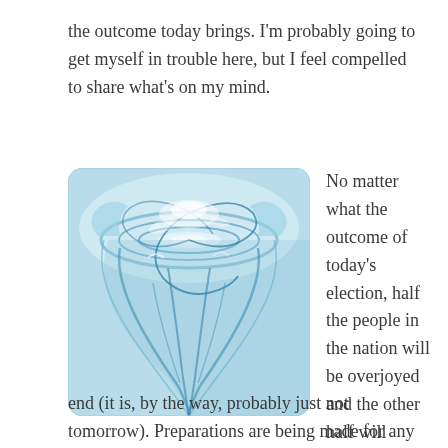the outcome today brings. I'm probably going to get myself in trouble here, but I feel compelled to share what's on my mind.
[Figure (photo): A swirling water vortex or tornado-like water funnel, shown from above, with blue and white tones against a light blue background.]
No matter what the outcome of today's election, half the people in the nation will be overjoyed and the other half will believe the world is coming to an end (it is, by the way, probably just not tomorrow). Preparations are being made for any eventuality (see here).